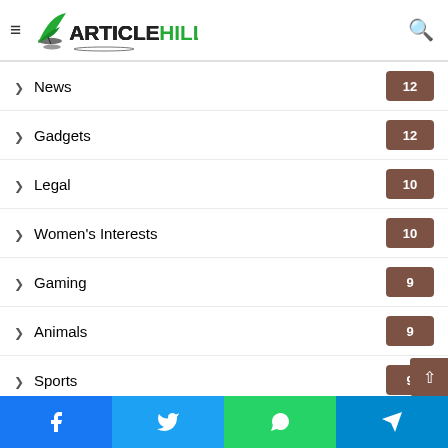ArticleHills
News 12
Gadgets 12
Legal 10
Women's Interests 10
Gaming 9
Animals 9
Sports 9
Construction 8
Insurance 7
Graphic Designing
Facebook Twitter WhatsApp Telegram